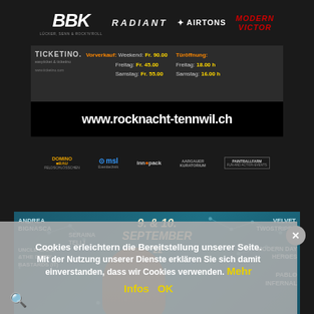[Figure (photo): Rock concert event banner showing band logos (BBK, Radiant, Airtons, Victor), ticket prices (Vorverkauf Weekend Fr. 90.00, Freitag Fr. 45.00, Samstag Fr. 55.00), door opening times (Türöffnung Freitag 18.00h, Samstag 16.00h), website www.rocknacht-tennwil.ch, and sponsor logos (Domino Bau, Feldschlösschen, msl, innopack, Aargauer Kuratorium, Paintball Farm)]
[Figure (photo): Festival poster for 9. & 10. September '22 on teal starry background showing artists: Andrea Bignasca, Seraina Telli, Uncle Bard & The Dirty Bastards (IT), Velvet Twostripes, Modern Day Heroes, Pablo Infernal, partially cropped at bottom]
Cookies erleichtern die Bereitstellung unserer Seite. Mit der Nutzung unserer Dienste erklären Sie sich damit einverstanden, dass wir Cookies verwenden. Mehr Infos OK